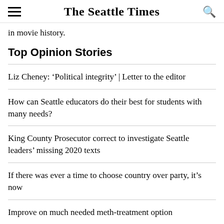The Seattle Times
in movie history.
Top Opinion Stories
Liz Cheney: ‘Political integrity’ | Letter to the editor
How can Seattle educators do their best for students with many needs?
King County Prosecutor correct to investigate Seattle leaders’ missing 2020 texts
If there was ever a time to choose country over party, it’s now
Improve on much needed meth-treatment option
Nuclear weapons: Demand action | Letter to the editor